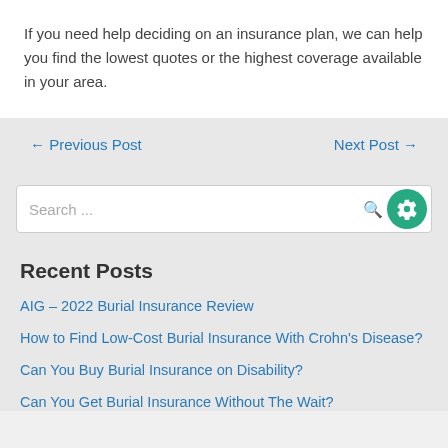If you need help deciding on an insurance plan, we can help you find the lowest quotes or the highest coverage available in your area.
← Previous Post
Next Post →
Search ...
Recent Posts
AIG – 2022 Burial Insurance Review
How to Find Low-Cost Burial Insurance With Crohn's Disease?
Can You Buy Burial Insurance on Disability?
Can You Get Burial Insurance Without The Wait?